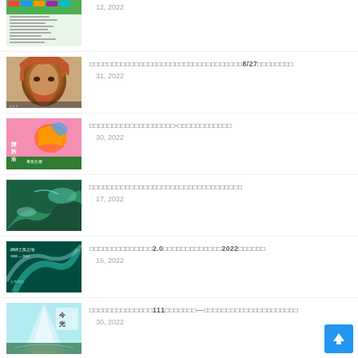12, 2022
□□□□□□□□□□□□□□□□□□□□□□□□□□□□□□□□□□8/27□□□□□□□□ 31, 2022
□□□□□□□□□□□□□□□□□□□-□□□□□□□□□□□□ 30, 2022
□□□□□□□□□□□□□□□□□□□□□□□□□□□□□□□□□□ 17, 2022
□□□□□□□□□□□□□□2.0□□□□□□□□□□□□□2022□□□□□□ 16, 2022
□□□□□□□□□□□□□□111□□□□□□□—□□□□□□□□□□□□□□□□□□□□□ 30, 2022